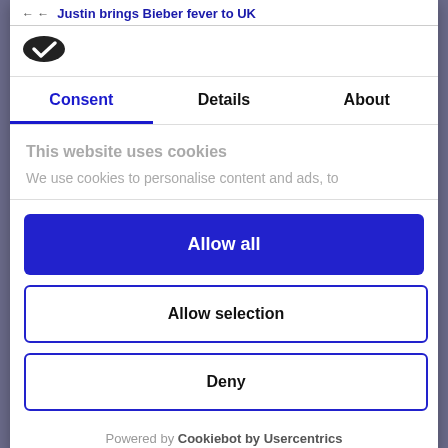Justin brings Bieber fever to UK
[Figure (logo): Cookiebot logo — dark oval with white checkmark]
Consent | Details | About
This website uses cookies
We use cookies to personalise content and ads, to
Allow all
Allow selection
Deny
Powered by Cookiebot by Usercentrics